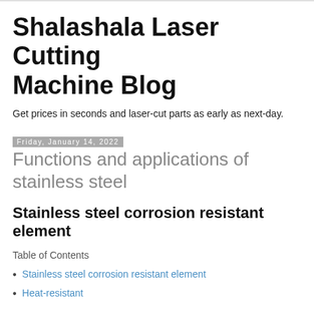Shalashala Laser Cutting Machine Blog
Get prices in seconds and laser-cut parts as early as next-day.
Friday, January 14, 2022
Functions and applications of stainless steel
Stainless steel corrosion resistant element
Table of Contents
Stainless steel corrosion resistant element
Heat-resistant